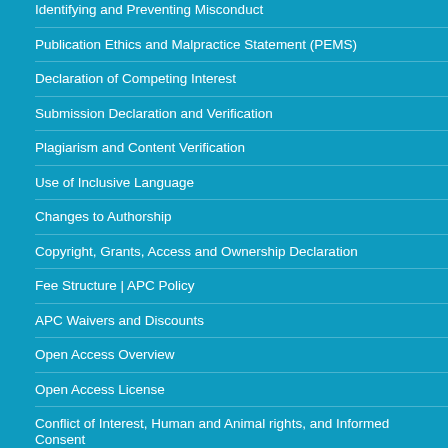Identifying and Preventing Misconduct
Publication Ethics and Malpractice Statement (PEMS)
Declaration of Competing Interest
Submission Declaration and Verification
Plagiarism and Content Verification
Use of Inclusive Language
Changes to Authorship
Copyright, Grants, Access and Ownership Declaration
Fee Structure | APC Policy
APC Waivers and Discounts
Open Access Overview
Open Access License
Conflict of Interest, Human and Animal rights, and Informed Consent
Confidentiality Policy